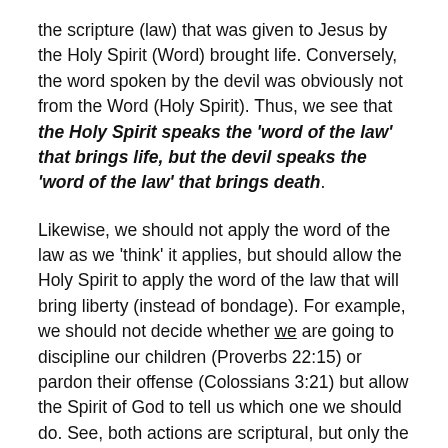the scripture (law) that was given to Jesus by the Holy Spirit (Word) brought life. Conversely, the word spoken by the devil was obviously not from the Word (Holy Spirit). Thus, we see that the Holy Spirit speaks the 'word of the law' that brings life, but the devil speaks the 'word of the law' that brings death.
Likewise, we should not apply the word of the law as we 'think' it applies, but should allow the Holy Spirit to apply the word of the law that will bring liberty (instead of bondage). For example, we should not decide whether we are going to discipline our children (Proverbs 22:15) or pardon their offense (Colossians 3:21) but allow the Spirit of God to tell us which one we should do. See, both actions are scriptural, but only the one the Holy Spirit directs us to do for the specific situation brings life. If we